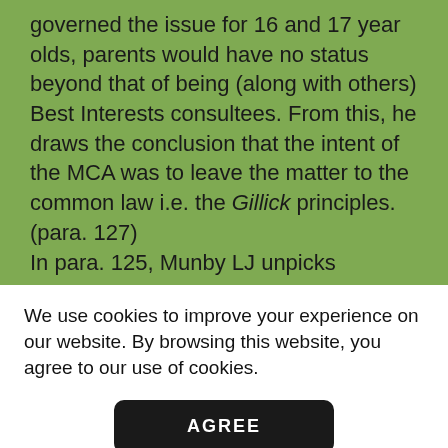governed the issue for 16 and 17 year olds, parents would have no status beyond that of being (along with others) Best Interests consultees. From this, he draws the conclusion that the intent of the MCA was to leave the matter to the common law i.e. the Gillick principles. (para. 127)

In para. 125, Munby LJ unpicks
We use cookies to improve your experience on our website. By browsing this website, you agree to our use of cookies.
AGREE